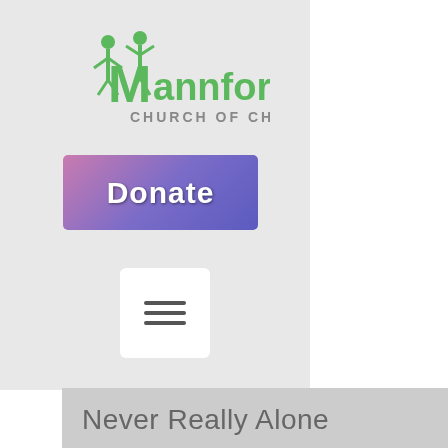[Figure (logo): Mannford Church of Christ logo with green stick figures forming letter M, green and gray text]
[Figure (screenshot): Donate button with pink-purple gradient background and white bold text]
[Figure (screenshot): Hamburger menu button (three horizontal bars) on white rounded square background]
Never Really Alone
[Figure (photo): Blurred photo of a person (woman with blonde hair), with a cyan circular more-options button in bottom right corner]